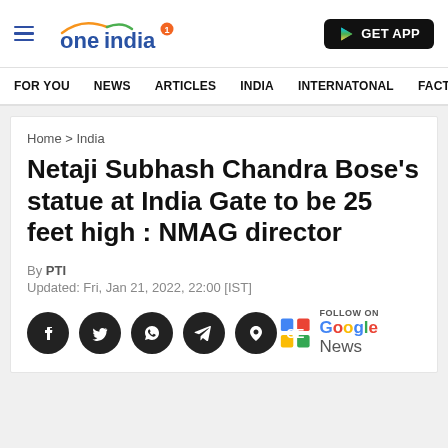oneindia | GET APP
FOR YOU  NEWS  ARTICLES  INDIA  INTERNATONAL  FACT
Home > India
Netaji Subhash Chandra Bose's statue at India Gate to be 25 feet high : NMAG director
By PTI
Updated: Fri, Jan 21, 2022, 22:00 [IST]